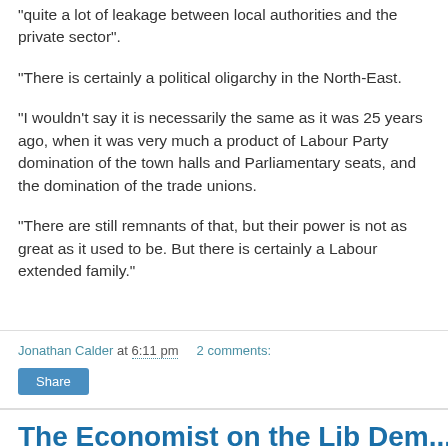"quite a lot of leakage between local authorities and the private sector".
"There is certainly a political oligarchy in the North-East.
"I wouldn't say it is necessarily the same as it was 25 years ago, when it was very much a product of Labour Party domination of the town halls and Parliamentary seats, and the domination of the trade unions.
"There are still remnants of that, but their power is not as great as it used to be. But there is certainly a Labour extended family."
Jonathan Calder at 6:11 pm   2 comments:
Share
The Economist on the Lib Dem...